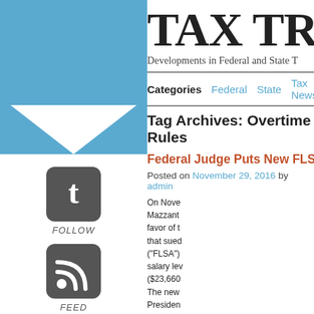TAX TRIA
Developments in Federal and State T
Categories   Federal   State   Tax News
Tag Archives: Overtime Rules
Federal Judge Puts New FLSA Overti
Posted on November 29, 2016 by admin
On Nove Mazzant favor of t that sued ("FLSA") salary lev ($23,660 The new Presiden would ha employee salaried a Those ru